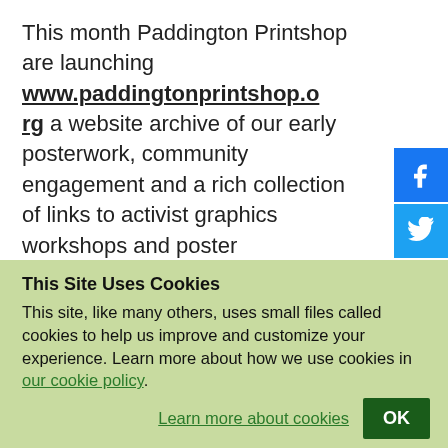This month Paddington Printshop are launching www.paddingtonprintshop.org a website archive of our early posterwork, community engagement and a rich collection of links to activist graphics workshops and poster movements. We will continue add to new material to this site and develop it as a contemporary resource for artists and
[Figure (other): Social media icons: Facebook (blue), Twitter (blue), Instagram (pink/red), LinkedIn (partially visible, blue)]
This Site Uses Cookies
This site, like many others, uses small files called cookies to help us improve and customize your experience. Learn more about how we use cookies in our cookie policy.
Learn more about cookies   OK